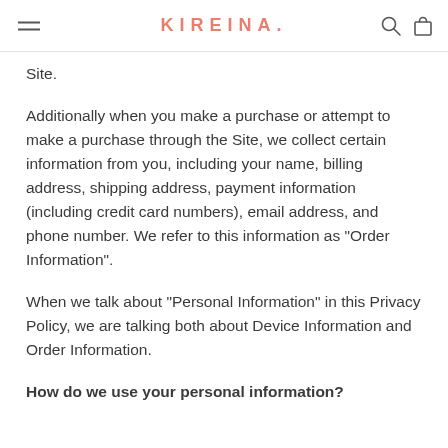KIREINA.
Site.
Additionally when you make a purchase or attempt to make a purchase through the Site, we collect certain information from you, including your name, billing address, shipping address, payment information (including credit card numbers), email address, and phone number. We refer to this information as “Order Information”.
When we talk about “Personal Information” in this Privacy Policy, we are talking both about Device Information and Order Information.
How do we use your personal information?